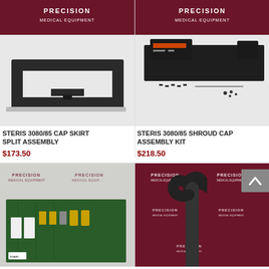[Figure (photo): STERIS 3080/85 Cap Skirt Split Assembly - black metal frame skirt on white background with Precision Medical Equipment logo banner]
[Figure (photo): STERIS 3080/85 Shroud Cap Assembly Kit - black shroud cap assembly with electronics unit and small hardware parts on white background with Precision Medical Equipment logo banner]
STERIS 3080/85 CAP SKIRT SPLIT ASSEMBLY
$173.50
STERIS 3080/85 SHROUD CAP ASSEMBLY KIT
$218.50
[Figure (photo): Circuit board / PCB with capacitors and connectors on white background with Precision Medical Equipment logo]
[Figure (photo): Medical chair or arm with dark padding against Precision Medical Equipment branded banner background]